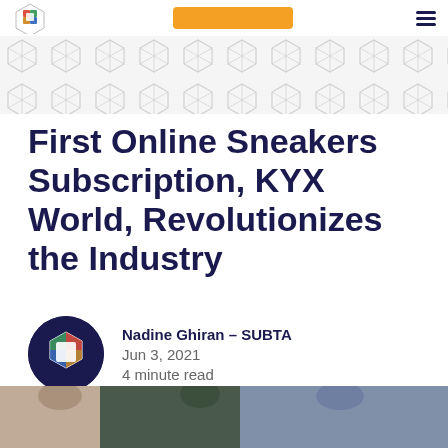First Online Sneakers Subscription, KYX World, Revolutionizes the Industry
[Figure (illustration): Decorative geometric cube pattern banner in light gray]
First Online Sneakers Subscription, KYX World, Revolutionizes the Industry
[Figure (logo): SUBTA circular logo with colored cube icon on dark navy background]
Nadine Ghiran – SUBTA
Jun 3, 2021
4 minute read
[Figure (photo): Partial photo of people at bottom of page]